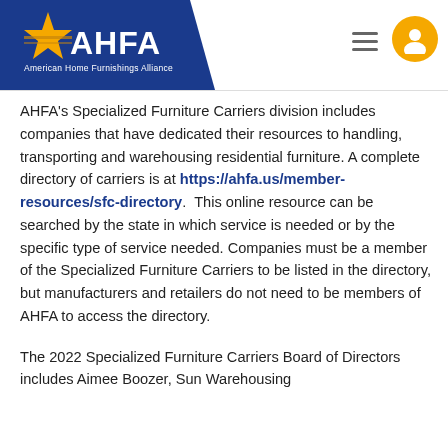[Figure (logo): AHFA (American Home Furnishings Alliance) logo on blue trapezoid background with navigation icons]
AHFA's Specialized Furniture Carriers division includes companies that have dedicated their resources to handling, transporting and warehousing residential furniture. A complete directory of carriers is at https://ahfa.us/member-resources/sfc-directory. This online resource can be searched by the state in which service is needed or by the specific type of service needed. Companies must be a member of the Specialized Furniture Carriers to be listed in the directory, but manufacturers and retailers do not need to be members of AHFA to access the directory.
The 2022 Specialized Furniture Carriers Board of Directors includes Aimee Boozer, Sun Warehousing